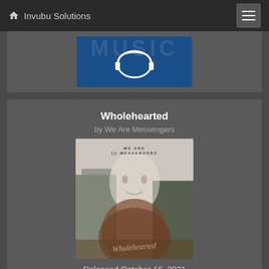Invubu Solutions
[Figure (other): Partially visible music app card with a blue background showing a white headphones/audio icon]
Wholehearted
by We Are Messengers
[Figure (photo): Album cover for 'Wholehearted' by We Are Messengers. Shows a double-exposure artistic photo of a person's face overlaid with forest/nature imagery. 'WE ARE MESSENGERS' text at top, cursive 'Wholehearted' text at bottom.]
Released October 15, 2021